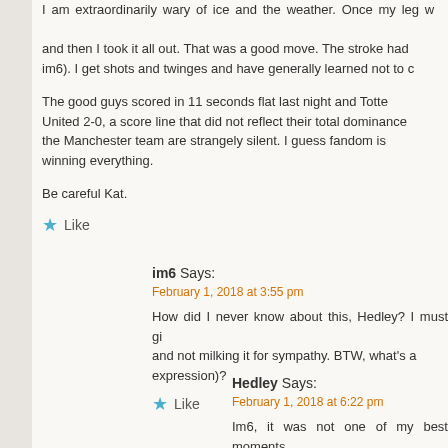I am extraordinarily wary of ice and the weather. Once my leg was broken and then I took it all out. That was a good move. The stroke had (im6). I get shots and twinges and have generally learned not to c...
The good guys scored in 11 seconds flat last night and Totte... United 2-0, a score line that did not reflect their total dominance... the Manchester team are strangely silent. I guess fandom is winning everything.
Be careful Kat.
Like
im6 Says:
February 1, 2018 at 3:55 pm
How did I never know about this, Hedley? I must gi... and not milking it for sympathy. BTW, what's a... expression)?
Like
Hedley Says:
February 1, 2018 at 6:22 pm
Im6, it was not one of my best moments...